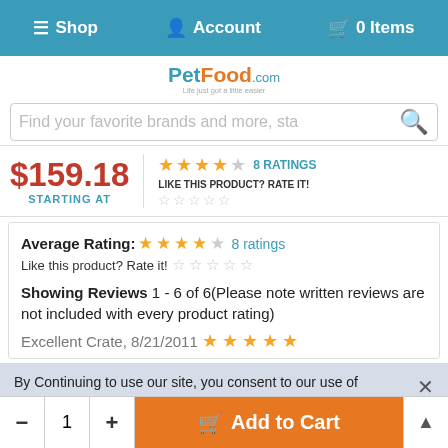≡ Shop  Account  🛒 0 Items
[Figure (logo): PetFood.com logo with tagline 'Life just got a little easier']
Find your favorite brands and more, sta
$159.18 STARTING AT
★★★★☆ 8 RATINGS LIKE THIS PRODUCT? RATE IT! ☆☆☆☆☆
Average Rating: ★★★★☆ 8 ratings
Like this product? Rate it! ☆☆☆☆☆
Showing Reviews 1 - 6 of 6(Please note written reviews are not included with every product rating)
Excellent Crate, 8/21/2011 ★★★★★
By Continuing to use our site, you consent to our use of cookies to improve your experience. Learn more
- 1 + Add to Cart ▲